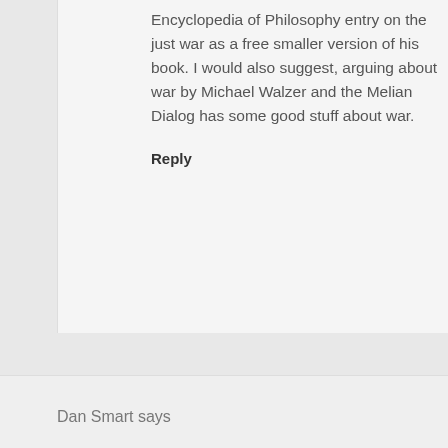Encyclopedia of Philosophy entry on the just war as a free smaller version of his book. I would also suggest, arguing about war by Michael Walzer and the Melian Dialog has some good stuff about war.
Reply
Dan Smart says